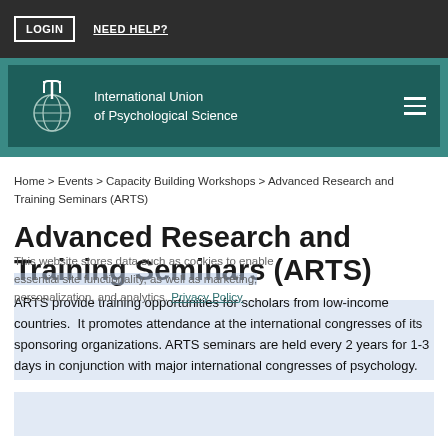LOGIN  NEED HELP?
[Figure (logo): International Union of Psychological Science logo with trident and globe symbol, white on dark teal background]
Home > Events > Capacity Building Workshops > Advanced Research and Training Seminars (ARTS)
Advanced Research and Training Seminars (ARTS)
ARTS provide training opportunities for scholars from low-income countries.  It promotes attendance at the international congresses of its sponsoring organizations. ARTS seminars are held every 2 years for 1-3 days in conjunction with major international congresses of psychology.